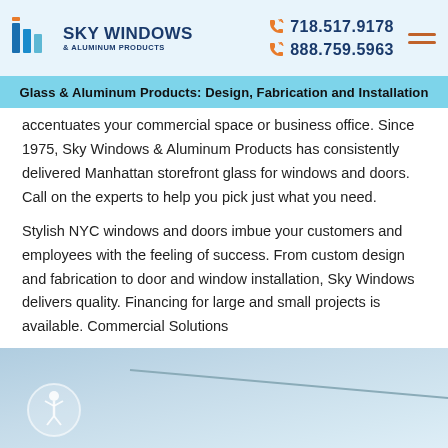Sky Windows & Aluminum Products | 718.517.9178 | 888.759.5963
Glass & Aluminum Products: Design, Fabrication and Installation
accentuates your commercial space or business office. Since 1975, Sky Windows & Aluminum Products has consistently delivered Manhattan storefront glass for windows and doors. Call on the experts to help you pick just what you need.
Stylish NYC windows and doors imbue your customers and employees with the feeling of success. From custom design and fabrication to door and window installation, Sky Windows delivers quality. Financing for large and small projects is available. Commercial Solutions
[Figure (photo): Bottom portion of a commercial storefront glass/aluminum panel, light blue-grey gradient background with a diagonal line suggesting glass edge. Accessibility icon (person in circle) at lower left.]